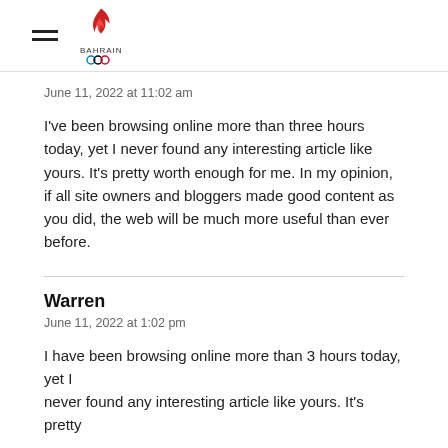Bahrain Olympic Committee website header with hamburger menu and logo
June 11, 2022 at 11:02 am
I've been browsing online more than three hours today, yet I never found any interesting article like yours. It's pretty worth enough for me. In my opinion, if all site owners and bloggers made good content as you did, the web will be much more useful than ever before.
Warren
June 11, 2022 at 1:02 pm
I have been browsing online more than 3 hours today, yet I never found any interesting article like yours. It's pretty